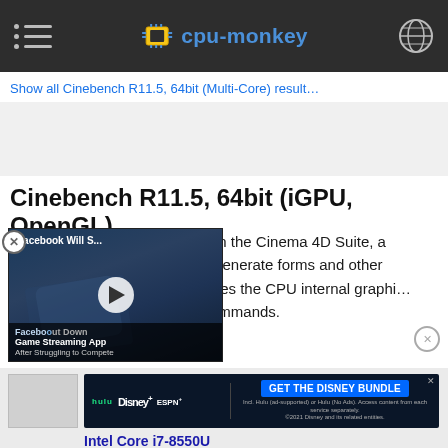cpu-monkey
Show all Cinebench R11.5, 64bit (Multi-Core) results
Cinebench R11.5, 64bit (iGPU, OpenGL)
Cinebench 11.5 is based on the Cinema 4D Suite, a software used in design to generate forms and other three-dimensional footage. It uses the CPU internal graphics to execute OpenGL commands.
[Figure (screenshot): Video thumbnail overlay showing Facebook news article about Facebook shutting down Game Streaming App with play button]
Facebook Will S... Facebook Shut Down Game Streaming App After Struggling to Compete
[Figure (screenshot): Disney Bundle advertisement showing Hulu, Disney+, ESPN+ logos with GET THE DISNEY BUNDLE button]
Intel Core i7-8550U